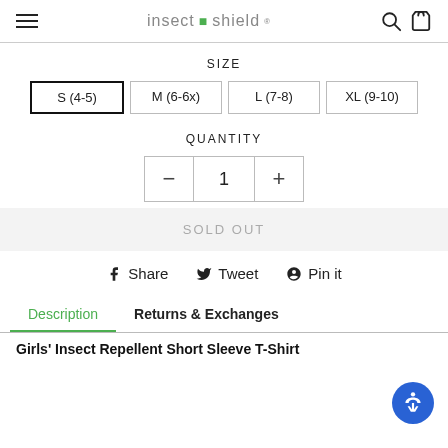insect shield
SIZE
S (4-5)  M (6-6x)  L (7-8)  XL (9-10)
QUANTITY
- 1 +
SOLD OUT
Share  Tweet  Pin it
Description  Returns & Exchanges
Girls' Insect Repellent Short Sleeve T-Shirt